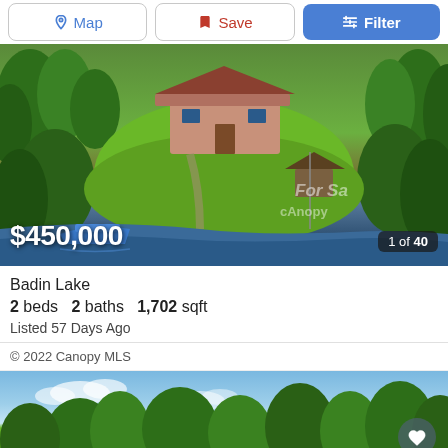Map | Save | Filter
[Figure (photo): Aerial view of a lakefront property with green lawn, trees, a small structure near the water, and a boat at a dock. Price overlay shows $450,000 and photo count shows 1 of 40.]
Badin Lake
2 beds  2 baths  1,702 sqft
Listed 57 Days Ago
© 2022 Canopy MLS
[Figure (photo): Partial view of a second property listing showing trees against a blue sky.]